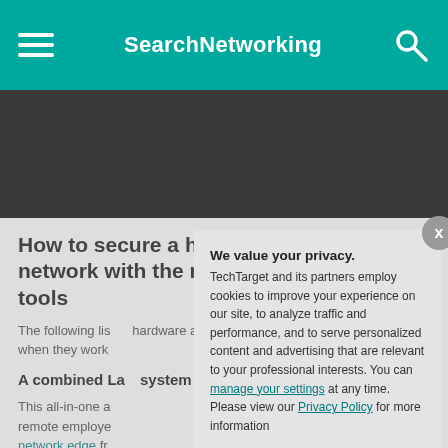SearchNetworking
[Figure (screenshot): Dark advertisement banner area]
How to secure a home network with the right tools
The following list... hardware and so... when they work
A combined La... system and we...
This all-in-one a... remote employe... network edge fr... can centrally mo... which can quickl...
We value your privacy. TechTarget and its partners employ cookies to improve your experience on our site, to analyze traffic and performance, and to serve personalized content and advertising that are relevant to your professional interests. You can manage your settings at any time. Please view our Privacy Policy for more information